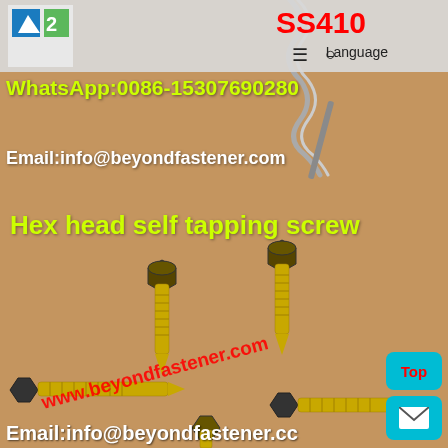[Figure (photo): Product photo showing hex head self-tapping screws (zinc-yellow plated) arranged on a tan/brown background. A metal spring/cable is visible in the upper portion. Four screws are shown in various orientations.]
SS410  Language
WhatsApp:0086-15307690280
Email:info@beyondfastener.com
Hex head self tapping screw
www.beyondfastener.com
Email:info@beyondfastener.cc